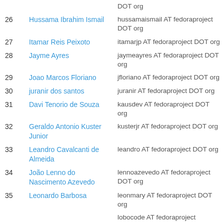DOT org
26  Hussama Ibrahim Ismail  hussamaismail AT fedoraproject DOT org
27  Itamar Reis Peixoto  itamarjp AT fedoraproject DOT org
28  Jayme Ayres  jaymeayres AT fedoraproject DOT org
29  Joao Marcos Floriano  jfloriano AT fedoraproject DOT org
30  juranir dos santos  juranir AT fedoraproject DOT org
31  Davi Tenorio de Souza  kausdev AT fedoraproject DOT org
32  Geraldo Antonio Kuster Junior  kusterjr AT fedoraproject DOT org
33  Leandro Cavalcanti de Almeida  leandro AT fedoraproject DOT org
34  João Lenno do Nascimento Azevedo  lennoazevedo AT fedoraproject DOT org
35  Leonardo Barbosa  leonmary AT fedoraproject DOT org
lobocode AT fedoraproject